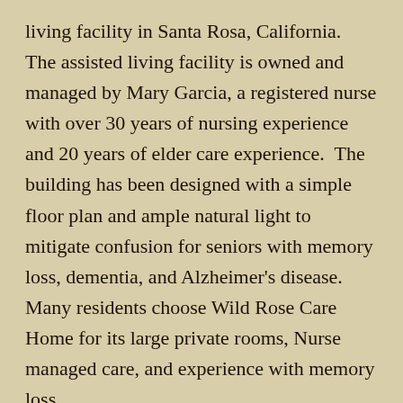living facility in Santa Rosa, California.  The assisted living facility is owned and managed by Mary Garcia, a registered nurse with over 30 years of nursing experience and 20 years of elder care experience.  The building has been designed with a simple floor plan and ample natural light to mitigate confusion for seniors with memory loss, dementia, and Alzheimer's disease.  Many residents choose Wild Rose Care Home for its large private rooms, Nurse managed care, and experience with memory loss.
You might notice that Wild Rose Care Home is unique among Sonoma County assisted